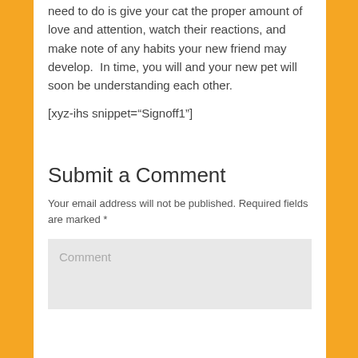need to do is give your cat the proper amount of love and attention, watch their reactions, and make note of any habits your new friend may develop.  In time, you will and your new pet will soon be understanding each other.
[xyz-ihs snippet="Signoff1"]
Submit a Comment
Your email address will not be published. Required fields are marked *
Comment